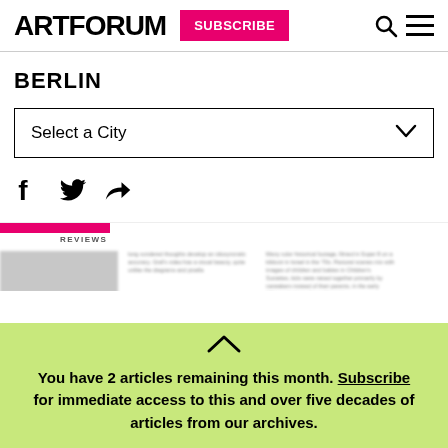ARTFORUM | SUBSCRIBE
BERLIN
Select a City
[Figure (illustration): Social share icons: Facebook, Twitter, and share/forward arrow]
[Figure (screenshot): Blurred article preview with red bar, REVIEWS label, article thumbnail image, and two columns of blurred article text]
You have 2 articles remaining this month. Subscribe for immediate access to this and over five decades of articles from our archives.